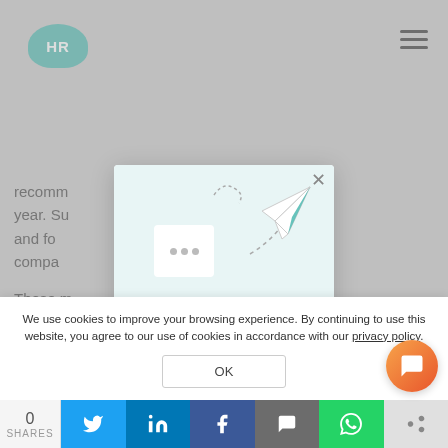[Figure (logo): HR Cloud teal rounded logo with white HR text]
recomm first year. Su rance and fo compa
These m d to perfo orate culture R Cloud's ware.
[Figure (screenshot): Email newsletter signup modal with paper airplane illustration, title 'Get the latest HR industry news!', and email input field]
We use cookies to improve your browsing experience. By continuing to use this website, you agree to our use of cookies in accordance with our privacy policy.
OK
0 SHARES